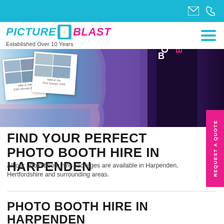[Figure (logo): Picture Blast logo with cyan 'PICTURE' text, door icon, and pink 'BLAST' text. Tagline: Established Over 10 Years]
[Figure (photo): Hero image showing photo booth with photo strip collage on left (wedding photos dated Nikki & Jon 23rd January 2016), purple photo booth curtain in center, dark booth with BOOTH and BLAST text on right]
FIND YOUR PERFECT PHOTO BOOTH HIRE IN HARPENDEN
All our photo booth hire packages are available in Harpenden, Hertfordshire and surrounding areas.
PHOTO BOOTH HIRE IN HARPENDEN